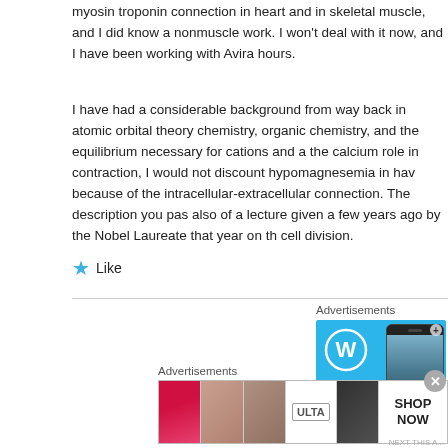myosin troponin connection in heart and in skeletal muscle, and I did know a nonmuscle work. I won't deal with it now, and I have been working with Avira hours.
I have had a considerable background from way back in atomic orbital theory chemistry, organic chemistry, and the equilibrium necessary for cations and a the calcium role in contraction, I would not discount hypomagnesemia in hav because of the intracellular-extracellular connection. The description you pas also of a lecture given a few years ago by the Nobel Laureate that year on th cell division.
★ Like
[Figure (screenshot): WordPress advertisement banner with blue gradient background, WordPress logo (W in circle), 'Create' text, and phone image showing 'VISITING SKOGAFOSS' badge]
Advertisements
[Figure (screenshot): Bottom advertisement banner showing cosmetics/beauty ads with ULTA logo and SHOP NOW call to action]
Advertisements